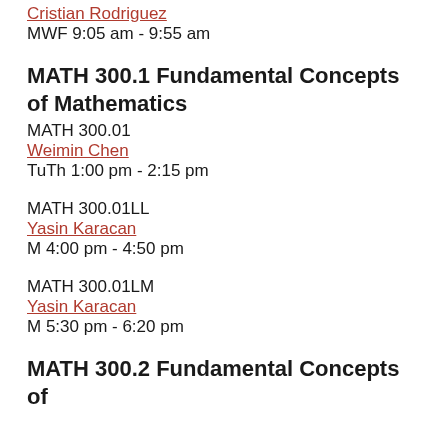Cristian Rodriguez
MWF 9:05 am - 9:55 am
MATH 300.1 Fundamental Concepts of Mathematics
MATH 300.01
Weimin Chen
TuTh 1:00 pm - 2:15 pm
MATH 300.01LL
Yasin Karacan
M 4:00 pm - 4:50 pm
MATH 300.01LM
Yasin Karacan
M 5:30 pm - 6:20 pm
MATH 300.2 Fundamental Concepts of